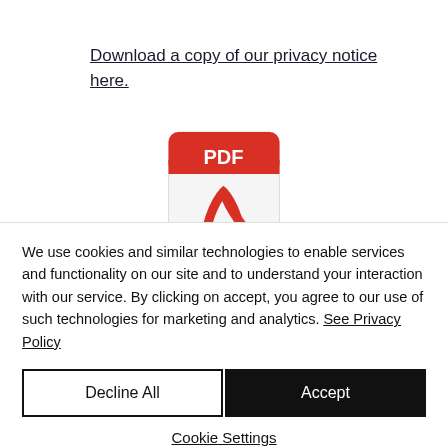Download a copy of our privacy notice here.
[Figure (illustration): PDF file icon with red header bar labeled PDF and Adobe Acrobat logo symbol below]
We use cookies and similar technologies to enable services and functionality on our site and to understand your interaction with our service. By clicking on accept, you agree to our use of such technologies for marketing and analytics. See Privacy Policy
Decline All
Accept
Cookie Settings